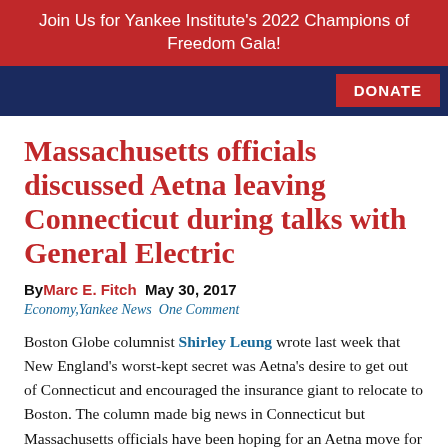Join Us for Yankee Institute's 2022 Champions of Freedom Gala!
Massachusetts officials discussed Aetna leaving Connecticut during talks with General Electric
By Marc E. Fitch  May 30, 2017
Economy, Yankee News  One Comment
Boston Globe columnist Shirley Leung wrote last week that New England's worst-kept secret was Aetna's desire to get out of Connecticut and encouraged the insurance giant to relocate to Boston. The column made big news in Connecticut but Massachusetts officials have been hoping for an Aetna move for since 2015.